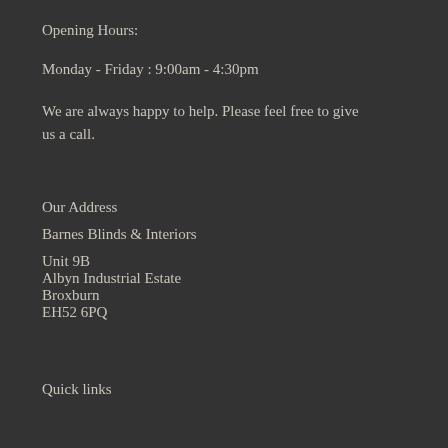Opening Hours:
Monday - Friday : 9:00am - 4:30pm
We are always happy to help. Please feel free to give us a call.
Our Address
Barnes Blinds & Interiors
Unit 9B
Albyn Industrial Estate
Broxburn
EH52 6PQ
Quick links